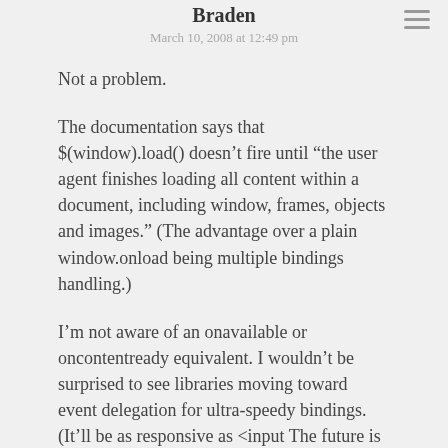Braden
March 10, 2008 at 12:49 pm
Not a problem.
The documentation says that $(window).load() doesn’t fire until “the user agent finishes loading all content within a document, including window, frames, objects and images.” (The advantage over a plain window.onload being multiple bindings handling.)
I’m not aware of an onavailable or oncontentready equivalent. I wouldn’t be surprised to see libraries moving toward event delegation for ultra-speedy bindings. (It’ll be as responsive as <input onclick="">! The future is here!)
Yeah, to be honest, jQuery UI isn’t half as mature as the base–they started fresh about a year ago. They’re putting a lot of focus into it right now, though. Frankly, I don’t